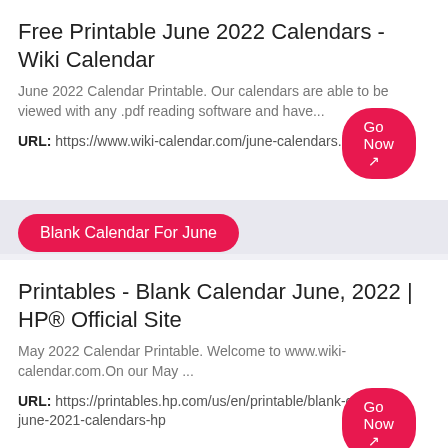Free Printable June 2022 Calendars - Wiki Calendar
June 2022 Calendar Printable. Our calendars are able to be viewed with any .pdf reading software and have...
URL: https://www.wiki-calendar.com/june-calendars.html
Go Now ↗
Blank Calendar For June
Printables - Blank Calendar June, 2022 | HP® Official Site
May 2022 Calendar Printable. Welcome to www.wiki-calendar.com.On our May ...
URL: https://printables.hp.com/us/en/printable/blank-calendar-june-2021-calendars-hp
Go Now ↗